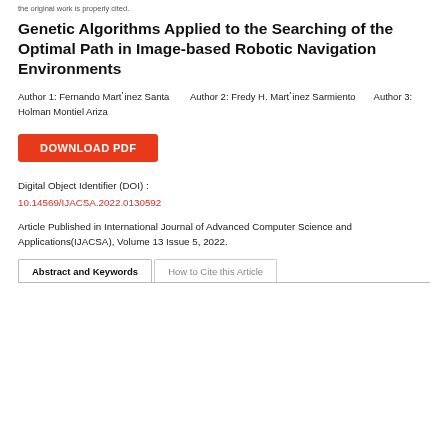the original work is properly cited.
Genetic Algorithms Applied to the Searching of the Optimal Path in Image-based Robotic Navigation Environments
Author 1: Fernando Mart´inez Santa      Author 2: Fredy H. Mart´inez Sarmiento      Author 3: Holman Montiel Ariza
DOWNLOAD PDF
Digital Object Identifier (DOI) :
10.14569/IJACSA.2022.0130592
Article Published in International Journal of Advanced Computer Science and Applications(IJACSA), Volume 13 Issue 5, 2022.
Abstract and Keywords	How to Cite this Article